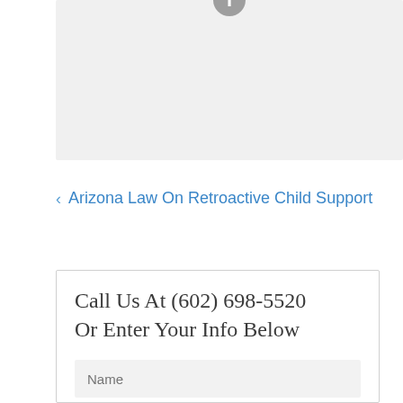[Figure (other): Gray information/icon box at the top of the page with a circular info icon visible at top center]
< Arizona Law On Retroactive Child Support
Call Us At (602) 698-5520 Or Enter Your Info Below
Name